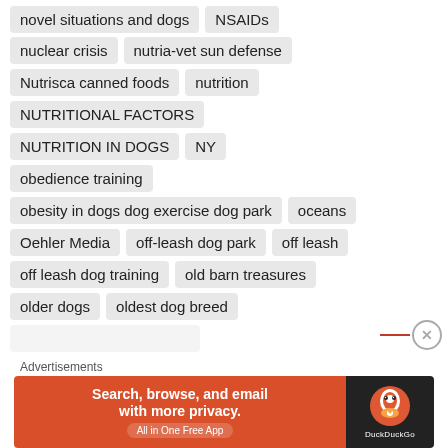novel situations and dogs
NSAIDs
nuclear crisis
nutria-vet sun defense
Nutrisca canned foods
nutrition
NUTRITIONAL FACTORS
NUTRITION IN DOGS
NY
obedience training
obesity in dogs dog exercise dog park
oceans
Oehler Media
off-leash dog park
off leash
off leash dog training
old barn treasures
older dogs
oldest dog breed
[Figure (screenshot): DuckDuckGo advertisement banner: orange left panel with text 'Search, browse, and email with more privacy. All in One Free App' and dark right panel with DuckDuckGo logo and text 'DuckDuckGo']